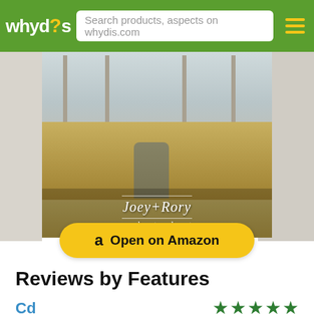whydis? — Search products, aspects on whydis.com
[Figure (photo): Album cover for Joey+Rory 'made to last' — two people sitting on a farmhouse porch surrounded by tall grass. The album title 'Joey+Rory made to last' appears in script text at the bottom of the image.]
Open on Amazon
Reviews by Features
Cd ★★★★★ (17 reviews)
Song ★★★★★